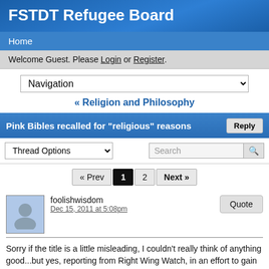FSTDT Refugee Board
Home
Welcome Guest. Please Login or Register.
Navigation
« Religion and Philosophy
Pink Bibles recalled for "religious" reasons
Thread Options
« Prev  1  2  Next »
foolishwisdom
Dec 15, 2011 at 5:08pm
Sorry if the title is a little misleading, I couldn't really think of anything good...but yes, reporting from Right Wing Watch, in an effort to gain awareness for breast cancer, at the LifeWay Christian Resources bookstore, where they sold pink Holman Christian Standard Bibles, where every Bible purchased will send one dollar to the Susan G. Komen for the Cure.